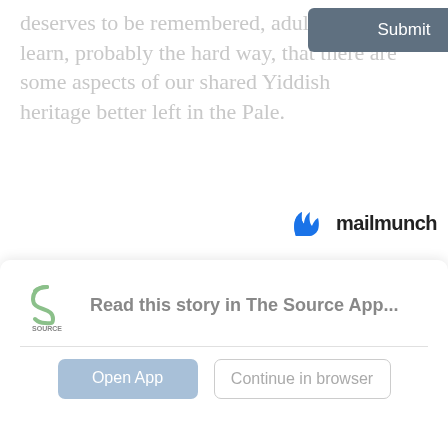deserves to be remembered, adults would learn, probably the hard way, that there are some aspects of our shared Yiddish heritage better left in the Pale.
[Figure (logo): Mailmunch logo with blue M icon and 'mailmunch' text in dark]
👍 1  👎 0
catch
exercise
opinion
video
why
yiddish
[Figure (logo): The Source App logo - stylized S with 'SOURCE' text below]
Read this story in The Source App...
Open App
Continue in browser